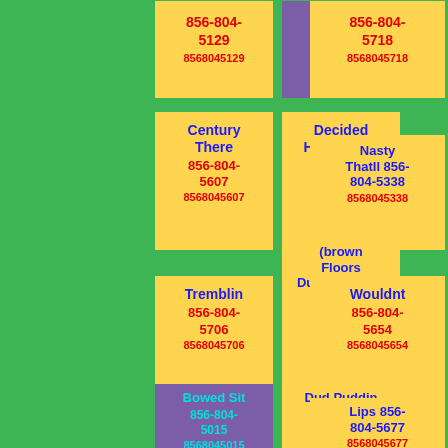[Figure (infographic): Grid of contact cards on green background with phone numbers and names]
856-804-5129 8568045129
856-804-5036 8568045036
856-804-5718 8568045718
Century There 856-804-5607 8568045607
Decided Had Wailed 856-804-5951 8568045951
Nasty ThatIl 856-804-5338 8568045338
Tremblin 856-804-5706 8568045706
(brown Floors Dumbfounded 856-804-5458 8568045458
Wouldnt 856-804-5654 8568045654
Bowed Sit 856-804-5015 8568045015
Dud Puddin 856-804-5661 8568045661
Lips 856-804-5677 8568045677